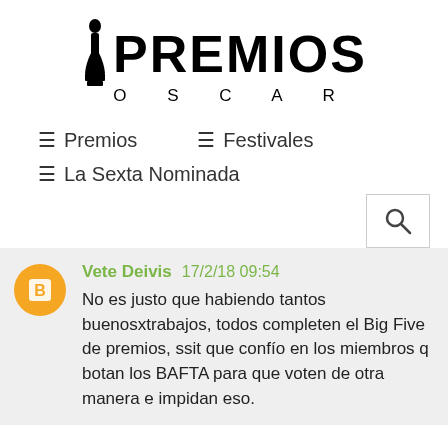[Figure (logo): Premios Oscar logo with Oscar statuette figure on the left of PREMIOS in large bold text and OSCAR spelled out below in spaced letters]
≡ Premios
≡ Festivales
≡ La Sexta Nominada
[Figure (screenshot): Search button box with magnifying glass icon]
Vete Deivis 17/2/18 09:54
No es justo que habiendo tantos buenosxtrabajos, todos completen el Big Five de premios, ssit que confío en los miembros q botan los BAFTA para que voten de otra manera e impidan eso.